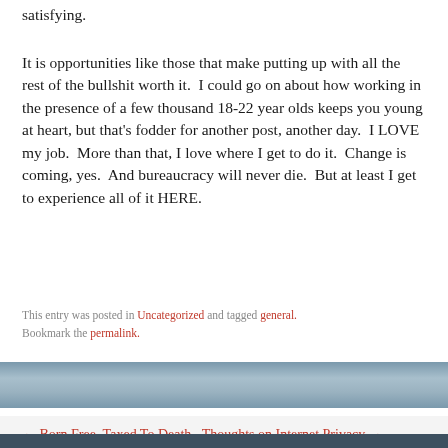satisfying.
It is opportunities like those that make putting up with all the rest of the bullshit worth it.  I could go on about how working in the presence of a few thousand 18-22 year olds keeps you young at heart, but that's fodder for another post, another day.  I LOVE my job.  More than that, I love where I get to do it.  Change is coming, yes.  And bureaucracy will never die.  But at least I get to experience all of it HERE.
This entry was posted in Uncategorized and tagged general. Bookmark the permalink.
← Born Free, Taxed To Death   Thoughts on Internet Privacy →